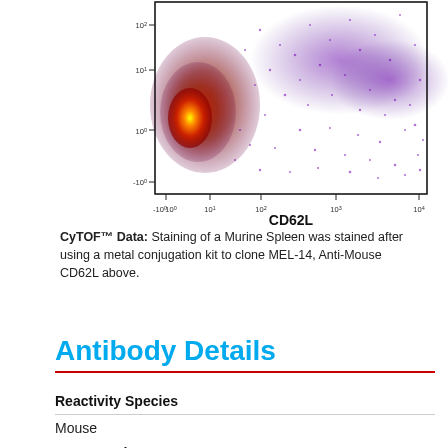[Figure (continuous-plot): CyTOF scatter/density plot showing cell counts vs CD62L signal intensity on x-axis (range -10^0 to 10^4) and y-axis (range -10^0 to 10^2). Dense cluster in lower-left showing high-density orange/red region, with purple/violet sparse cells spreading to the right. X-axis labeled CD62L.]
CyTOF™ Data: Staining of a Murine Spleen was stained after using a metal conjugation kit to clone MEL-14, Anti-Mouse CD62L above.
Antibody Details
| Field | Value |
| --- | --- |
| Reactivity Species | Mouse |
| Host Species |  |